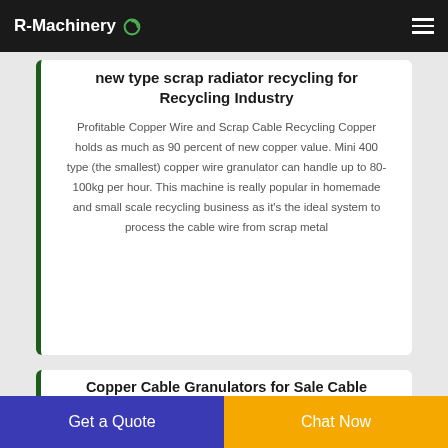R-Machinery
new type scrap radiator recycling for Recycling Industry
Profitable Copper Wire and Scrap Cable Recycling Copper holds as much as 90 percent of new copper value. Mini 400 type (the smallest) copper wire granulator can handle up to 80-100kg per hour. This machine is really popular in homemade and small scale recycling business as it's the ideal system to process the cable wire from scrap metal
Copper Cable Granulators for Sale Cable Recycling
Get a Quote
Chat Now